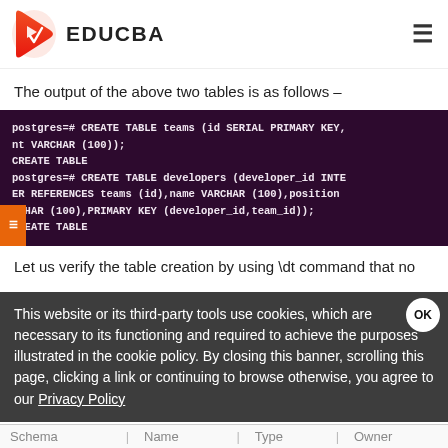EDUCBA
The output of the above two tables is as follows –
[Figure (screenshot): Dark terminal/code block showing PostgreSQL CREATE TABLE commands for 'teams' and 'developers' tables with SQL syntax on dark purple background]
Let us verify the table creation by using \dt command that no
This website or its third-party tools use cookies, which are necessary to its functioning and required to achieve the purposes illustrated in the cookie policy. By closing this banner, scrolling this page, clicking a link or continuing to browse otherwise, you agree to our Privacy Policy
| Schema | Name | Type | Owner |
| --- | --- | --- | --- |